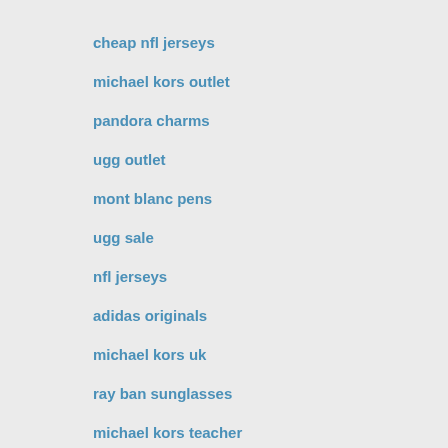cheap nfl jerseys
michael kors outlet
pandora charms
ugg outlet
mont blanc pens
ugg sale
nfl jerseys
adidas originals
michael kors uk
ray ban sunglasses
michael kors teacher